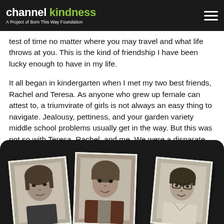channel kindness — A Project of Born This Way Foundation
test of time no matter where you may travel and what life throws at you. This is the kind of friendship I have been lucky enough to have in my life.
It all began in kindergarten when I met my two best friends, Rachel and Teresa. As anyone who grew up female can attest to, a triumvirate of girls is not always an easy thing to navigate. Jealousy, pettiness, and your garden variety middle school problems usually get in the way. But this was not so with Teresa, Rachel, and me. We were a disparate group, but somehow it was always harmonious.
[Figure (photo): Black and white collage of three vintage school portrait photos of young girls displayed on a dark device/tablet, shown at bottom of page.]